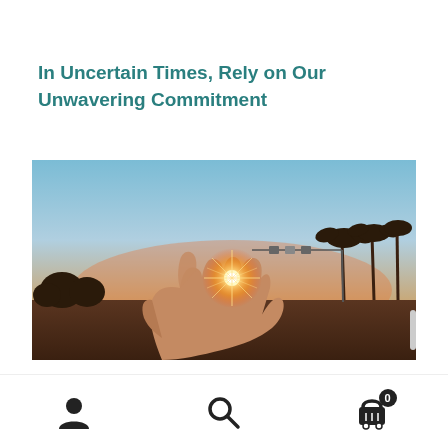In Uncertain Times, Rely on Our Unwavering Commitment
[Figure (photo): A hand silhouetted against a sunset sky, fingers positioned to appear as if pinching or holding the bright sun, with palm trees and street lights visible in the background. Warm golden orange light emanates from the sun between the fingers with starburst effect.]
Navigation bar with user account icon, search icon, and shopping cart icon with badge showing 0